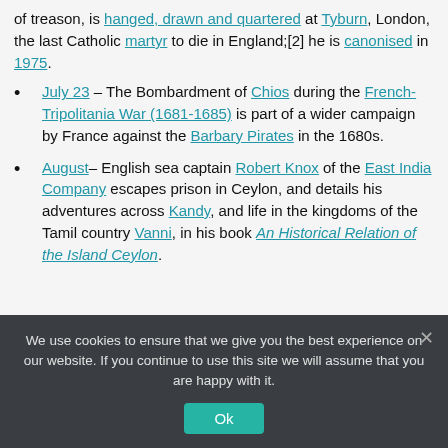of treason, is hanged, drawn and quartered at Tyburn, London, the last Catholic martyr to die in England;[2] he is canonised in 1975.
July 23 – The Bombardment of Chios during the French-Tripolitania War (1681-1685) is part of a wider campaign by France against the Barbary Pirates in the 1680s.
August– English sea captain Robert Knox of the East India Company escapes prison in Ceylon, and details his adventures across Kandy, and life in the kingdoms of the Tamil country Vanni, in his book An Historical Relation of the Island Ceylon.
We use cookies to ensure that we give you the best experience on our website. If you continue to use this site we will assume that you are happy with it.